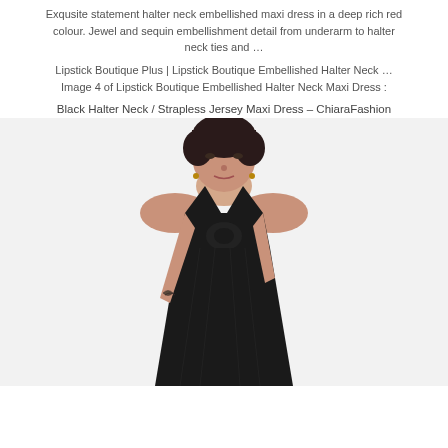Exqusite statement halter neck embellished maxi dress in a deep rich red colour. Jewel and sequin embellishment detail from underarm to halter neck ties and …
Lipstick Boutique Plus | Lipstick Boutique Embellished Halter Neck … Image 4 of Lipstick Boutique Embellished Halter Neck Maxi Dress :
Black Halter Neck / Strapless Jersey Maxi Dress – ChiaraFashion
[Figure (photo): A woman with short dark hair wearing a black halter neck / strapless jersey maxi dress against a light grey/white background. The dress has a twisted/knotted bust detail and flows down. The model has a tattoo on her lower arm visible at the bottom of the image.]